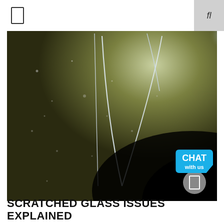[Figure (photo): Close-up macro photograph of scratches on glass surface. The scratches appear as bright white curved and straight lines against a dark olive-green/black background, with a bright light source visible in the upper right. The lower right is darkened in a sweeping shadow.]
SCRATCHED GLASS ISSUES EXPLAINED